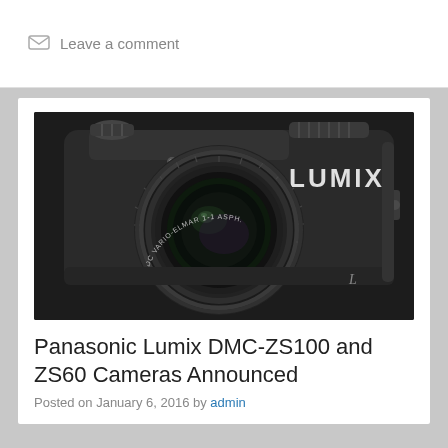Leave a comment
[Figure (photo): Panasonic Lumix DMC-ZS100 compact camera with Leica DC Vario-Elmar lens, black, shown from front-left angle with lens extended]
Panasonic Lumix DMC-ZS100 and ZS60 Cameras Announced
Posted on January 6, 2016 by admin